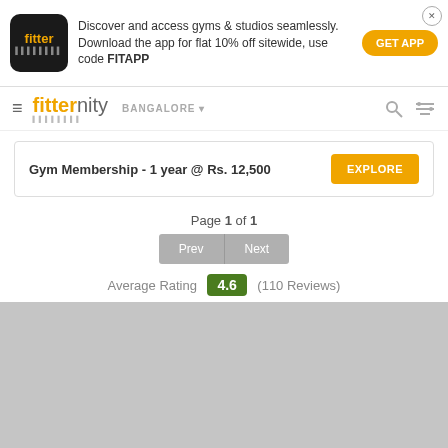[Figure (screenshot): Fitter app banner ad with logo, promotional text, and GET APP button]
fitternity | BANGALORE | navigation icons
Gym Membership - 1 year @ Rs. 12,500
Page 1 of 1
Prev | Next
Average Rating 4.6 (110 Reviews)
[Figure (other): Gray map/content placeholder area]